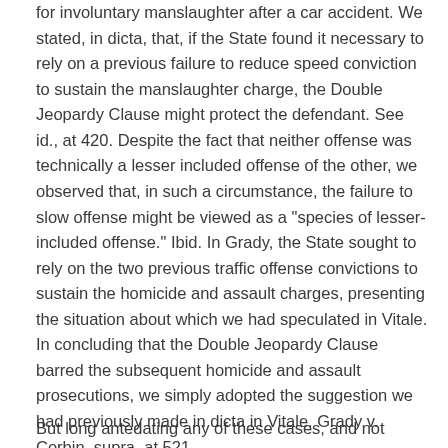for involuntary manslaughter after a car accident. We stated, in dicta, that, if the State found it necessary to rely on a previous failure to reduce speed conviction to sustain the manslaughter charge, the Double Jeopardy Clause might protect the defendant. See id., at 420. Despite the fact that neither offense was technically a lesser included offense of the other, we observed that, in such a circumstance, the failure to slow offense might be viewed as a "species of lesser-included offense." Ibid. In Grady, the State sought to rely on the two previous traffic offense convictions to sustain the homicide and assault charges, presenting the situation about which we had speculated in Vitale. In concluding that the Double Jeopardy Clause barred the subsequent homicide and assault prosecutions, we simply adopted the suggestion we had previously made in dicta in Vitale. Grady v. Corbin, supra, at 521.
But long antedating any of these cases, and not questioned